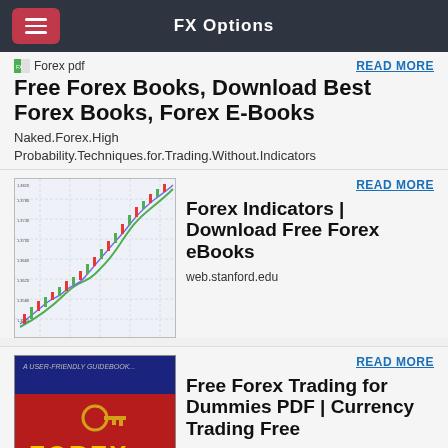FX Options
Forex pdf
READ MORE
Free Forex Books, Download Best Forex Books, Forex E-Books
Naked.Forex.High
Probability.Techniques.for.Trading.Without.Indicators
READ MORE
[Figure (screenshot): Forex chart screenshot showing price movements with green and blue trend lines on a grid background]
Forex Indicators | Download Free Forex eBooks
web.stanford.edu
READ MORE
[Figure (photo): Book cover: A User-Friendly Guidebook with a key image and FOREX text in yellow on red background]
Free Forex Trading for Dummies PDF | Currency Trading Free